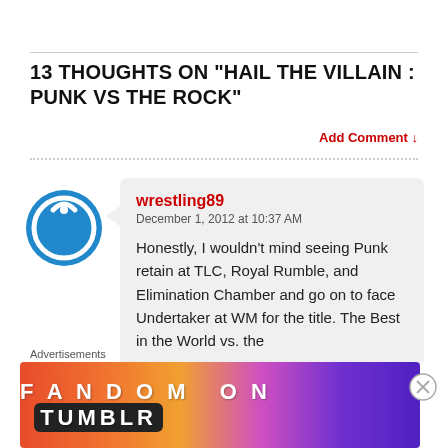13 THOUGHTS ON "HAIL THE VILLAIN : PUNK VS THE ROCK"
Add Comment ↓
wrestling89
December 1, 2012 at 10:37 AM

Honestly, I wouldn't mind seeing Punk retain at TLC, Royal Rumble, and Elimination Chamber and go on to face Undertaker at WM for the title. The Best in the World vs. the
[Figure (other): Blue circular power button icon used as commenter avatar]
Advertisements
[Figure (other): Fandom on Tumblr advertisement banner with colorful gradient background]